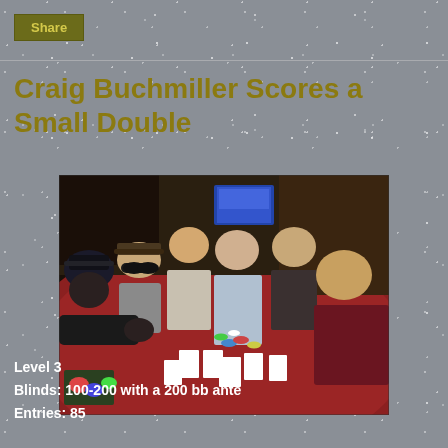Share
Craig Buchmiller Scores a Small Double
[Figure (photo): Several people seated around a red poker table playing cards, with chips and cards visible on the table surface. Multiple players are visible, including a bald player and a man in a maroon shirt on the right side.]
Level 3
Blinds: 100-200 with a 200 bb ante
Entries: 85